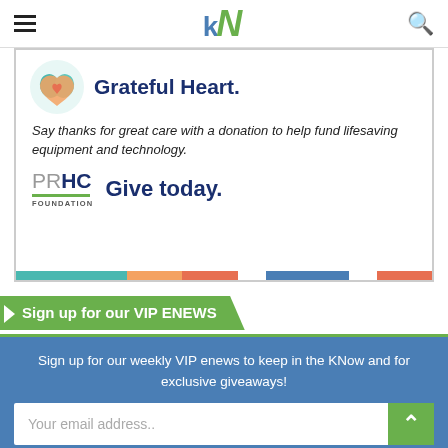[Figure (logo): KN logo with hamburger menu and search icon in navigation bar]
[Figure (infographic): PRHC Foundation ad: Grateful Heart. Say thanks for great care with a donation to help fund lifesaving equipment and technology. PRHC Foundation Give today. Colorful stripe at bottom.]
Sign up for our VIP ENEWS
Sign up for our weekly VIP enews to keep in the KNow and for exclusive giveaways!
Your email address..
SUBSCRIBE